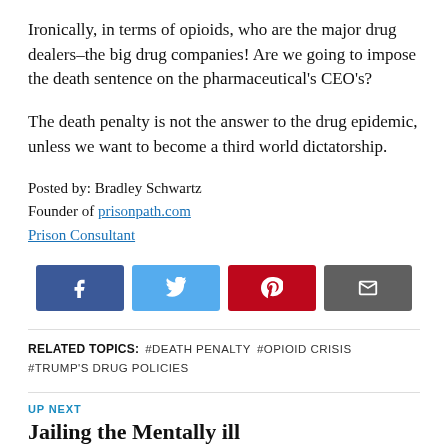Ironically, in terms of opioids, who are the major drug dealers–the big drug companies! Are we going to impose the death sentence on the pharmaceutical's CEO's?
The death penalty is not the answer to the drug epidemic, unless we want to become a third world dictatorship.
Posted by: Bradley Schwartz
Founder of prisonpath.com
Prison Consultant
[Figure (infographic): Social share buttons: Facebook (blue), Twitter (light blue), Pinterest (red), Email (gray)]
RELATED TOPICS: #DEATH PENALTY #OPIOID CRISIS #TRUMP'S DRUG POLICIES
UP NEXT
Jailing the Mentally ill